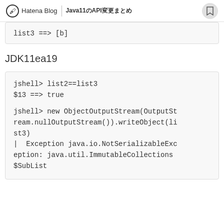Hatena Blog | Java11のAPI変更まとめ
list3 ==> [b]
JDK11ea19
jshell> list2==list3
$13 ==> true

jshell> new ObjectOutputStream(OutputStream.nullOutputStream()).writeObject(list3)
|  Exception java.io.NotSerializableException: java.util.ImmutableCollections$SubList